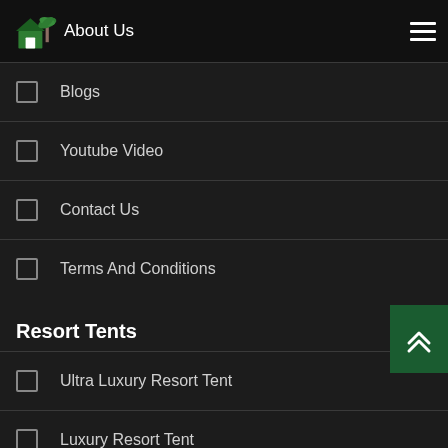About Us
Blogs
Youtube Video
Contact Us
Terms And Conditions
Resort Tents
Ultra Luxury Resort Tent
Luxury Resort Tent
Indian Resort Tent